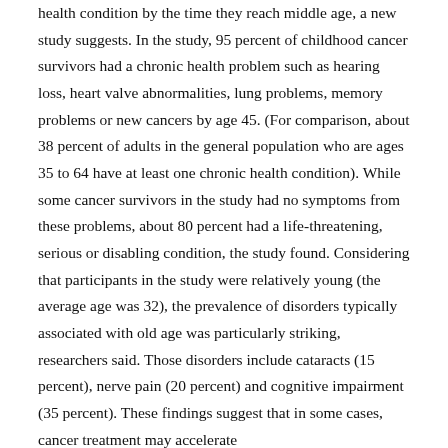health condition by the time they reach middle age, a new study suggests. In the study, 95 percent of childhood cancer survivors had a chronic health problem such as hearing loss, heart valve abnormalities, lung problems, memory problems or new cancers by age 45. (For comparison, about 38 percent of adults in the general population who are ages 35 to 64 have at least one chronic health condition). While some cancer survivors in the study had no symptoms from these problems, about 80 percent had a life-threatening, serious or disabling condition, the study found. Considering that participants in the study were relatively young (the average age was 32), the prevalence of disorders typically associated with old age was particularly striking, researchers said. Those disorders include cataracts (15 percent), nerve pain (20 percent) and cognitive impairment (35 percent). These findings suggest that in some cases, cancer treatment may accelerate